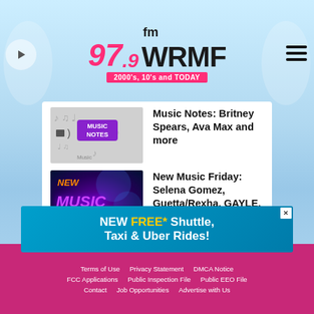[Figure (logo): 97.9 FM WRMF radio station logo with tagline '2000's, 10's and TODAY']
Music Notes: Britney Spears, Ava Max and more
New Music Friday: Selena Gomez, Guetta/Rexha, GAYLE, Grammer and more
[Figure (infographic): Advertisement banner: NEW FREE* Shuttle, Taxi & Uber Rides!]
Terms of Use  Privacy Statement  DMCA Notice  FCC Applications  Public Inspection File  Public EEO File  Contact  Job Opportunities  Advertise with Us